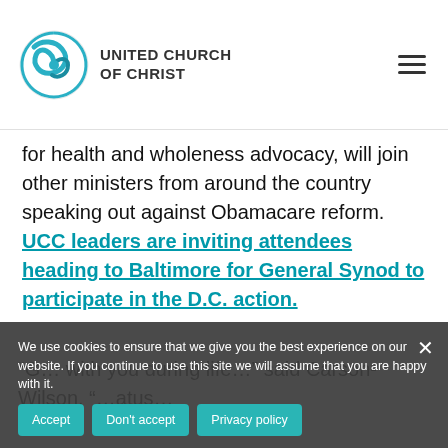UNITED CHURCH OF CHRIST
for health and wholeness advocacy, will join other ministers from around the country speaking out against Obamacare reform. UCC leaders are inviting attendees heading to Baltimore for General Synod to participate in the D.C. action.
We use cookies to ensure that we give you the best experience on our website. If you continue to use this site we will assume that you are happy with it.
"G... with you during life..." said Carson-Wilson. "...atus ...